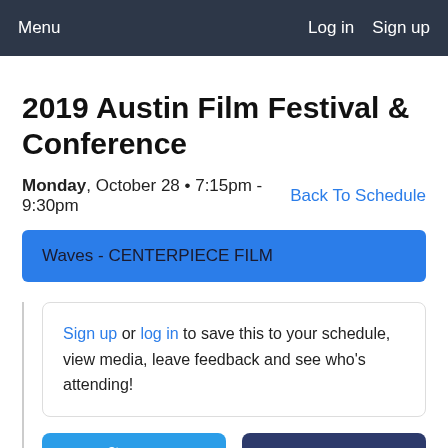Menu   Log in   Sign up
2019 Austin Film Festival & Conference
Monday, October 28 • 7:15pm - 9:30pm   Back To Schedule
Waves - CENTERPIECE FILM
Sign up or log in to save this to your schedule, view media, leave feedback and see who's attending!
Tweet   Share